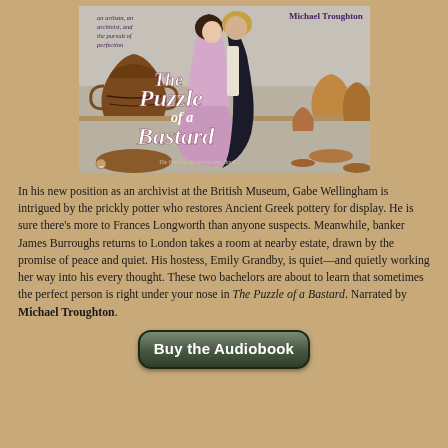[Figure (illustration): Book cover of 'The Puzzle of a Bastard' by Michael Troughton. Shows a man and woman in a romantic pose surrounded by Ancient Greek pottery vases. Subtitle: The Heirs of the Aristocracy, Book 2. Tagline: an artisan, an archivist, and the pursuit of perfection.]
In his new position as an archivist at the British Museum, Gabe Wellingham is intrigued by the prickly potter who restores Ancient Greek pottery for display. He is sure there's more to Frances Longworth than anyone suspects. Meanwhile, banker James Burroughs returns to London takes a room at nearby estate, drawn by the promise of peace and quiet. His hostess, Emily Grandby, is quiet—and quietly working her way into his every thought. These two bachelors are about to learn that sometimes the perfect person is right under your nose in The Puzzle of a Bastard. Narrated by Michael Troughton.
[Figure (other): Button: Buy the Audiobook]